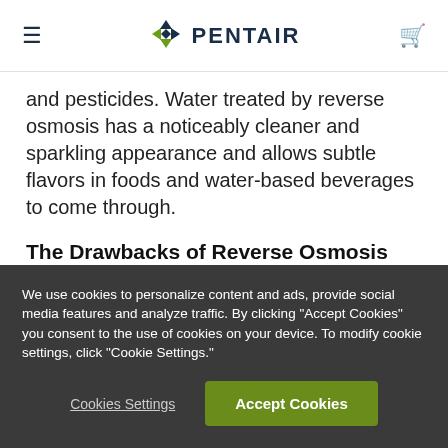PENTAIR
and pesticides. Water treated by reverse osmosis has a noticeably cleaner and sparkling appearance and allows subtle flavors in foods and water-based beverages to come through.
The Drawbacks of Reverse Osmosis
Despite their effectiveness, RO membranes are subject to a number of factors that make them susceptible to loss of function. The
We use cookies to personalize content and ads, provide social media features and analyze traffic. By clicking "Accept Cookies" you consent to the use of cookies on your device. To modify cookie settings, click "Cookie Settings."
Cookies Settings
Accept Cookies